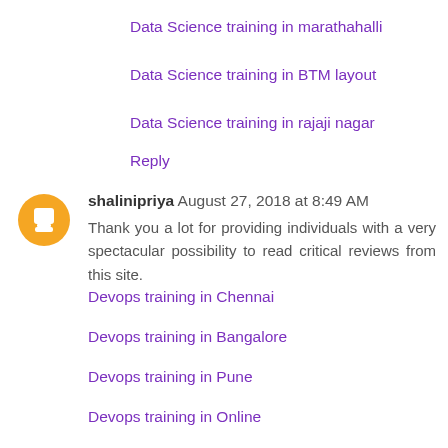Data Science training in marathahalli
Data Science training in BTM layout
Data Science training in rajaji nagar
Reply
shalinipriya August 27, 2018 at 8:49 AM
Thank you a lot for providing individuals with a very spectacular possibility to read critical reviews from this site.
Devops training in Chennai
Devops training in Bangalore
Devops training in Pune
Devops training in Online
Devops training in Pune